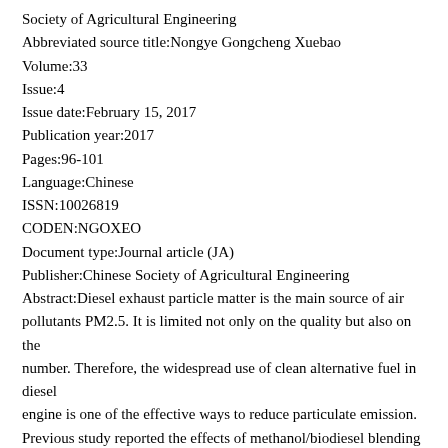Society of Agricultural Engineering
Abbreviated source title:Nongye Gongcheng Xuebao
Volume:33
Issue:4
Issue date:February 15, 2017
Publication year:2017
Pages:96-101
Language:Chinese
ISSN:10026819
CODEN:NGOXEO
Document type:Journal article (JA)
Publisher:Chinese Society of Agricultural Engineering
Abstract:Diesel exhaust particle matter is the main source of air pollutants PM2.5. It is limited not only on the quality but also on the number. Therefore, the widespread use of clean alternative fuel in diesel engine is one of the effective ways to reduce particulate emission. Previous study reported the effects of methanol/biodiesel blending fuel on the volatilization, oxidation process parameters and kinetic parameters of particle matter emitted from diesel engine. The volatilization,